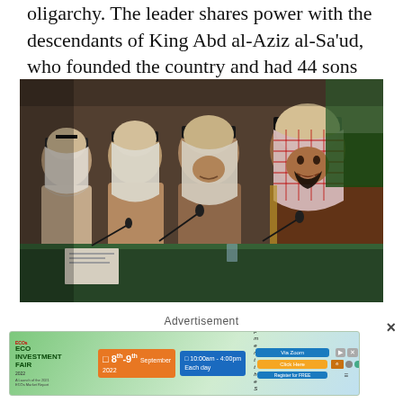oligarchy. The leader shares power with the descendants of King Abd al-Aziz al-Sa'ud, who founded the country and had 44 sons and 17 wives.
[Figure (photo): Photo of Saudi officials including a prominent figure in traditional Saudi dress (red-and-white checkered keffiyeh) seated at a conference table with microphones, with Saudi flag visible in background.]
Advertisement
[Figure (infographic): Advertisement banner for ECO Investment Fair, 8th-9th September 2022, 10:00am-4:00pm Each day, Via Zoom. Theme: Investments in Green Enterprise Development the Sustainable Pathway to Climate Resilient Growth. A Launch of the 2021 ECOs Market Report.]